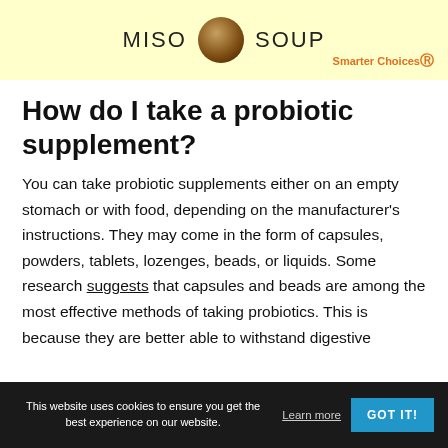[Figure (illustration): Advertisement banner for Miso Soup with a bowl image and 'Smarter Choices' logo on a light yellow background]
How do I take a probiotic supplement?
You can take probiotic supplements either on an empty stomach or with food, depending on the manufacturer's instructions. They may come in the form of capsules, powders, tablets, lozenges, beads, or liquids. Some research suggests that capsules and beads are among the most effective methods of taking probiotics. This is because they are better able to withstand digestive
This website uses cookies to ensure you get the best experience on our website.  Learn more  GOT IT!